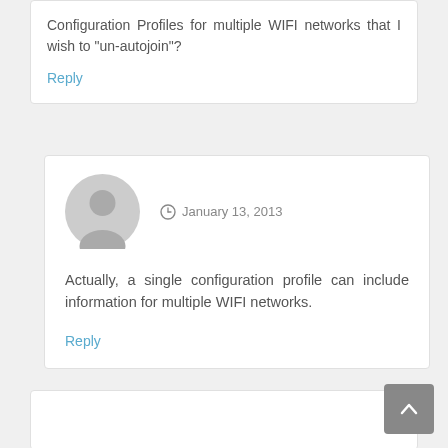Configuration Profiles for multiple WIFI networks that I wish to “un-autojoin”?
Reply
January 13, 2013
Actually, a single configuration profile can include information for multiple WIFI networks.
Reply